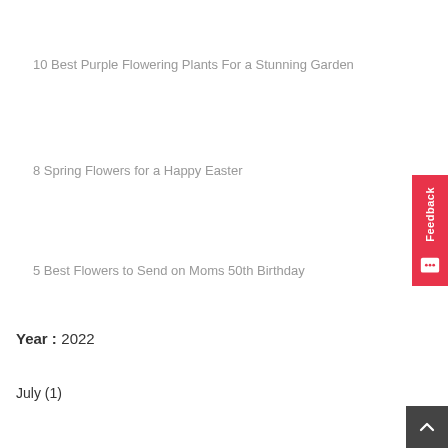10 Best Purple Flowering Plants For a Stunning Garden
8 Spring Flowers for a Happy Easter
5 Best Flowers to Send on Moms 50th Birthday
Year : 2022
July (1)